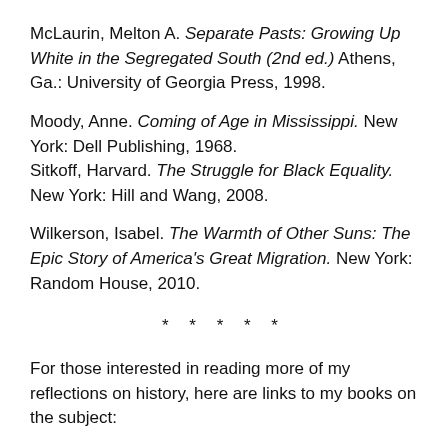McLaurin, Melton A. Separate Pasts: Growing Up White in the Segregated South (2nd ed.) Athens, Ga.: University of Georgia Press, 1998.
Moody, Anne. Coming of Age in Mississippi. New York: Dell Publishing, 1968.
Sitkoff, Harvard. The Struggle for Black Equality. New York: Hill and Wang, 2008.
Wilkerson, Isabel. The Warmth of Other Suns: The Epic Story of America's Great Migration. New York: Random House, 2010.
* * * * *
For those interested in reading more of my reflections on history, here are links to my books on the subject: